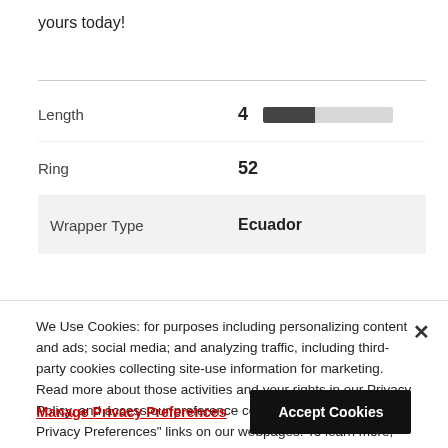yours today!
| Length | 4 |
| Ring | 52 |
| Wrapper Type | Ecuador |
We Use Cookies: for purposes including personalizing content and ads; social media; and analyzing traffic, including third-party cookies collecting site-use information for marketing. Read more about those activities and your rights in our Privacy Policy, and access our preference center through "Manage Privacy Preferences" links on our webpages. To learn more, visit our Privacy Policy.
Manage Privacy Preferences
Accept Cookies